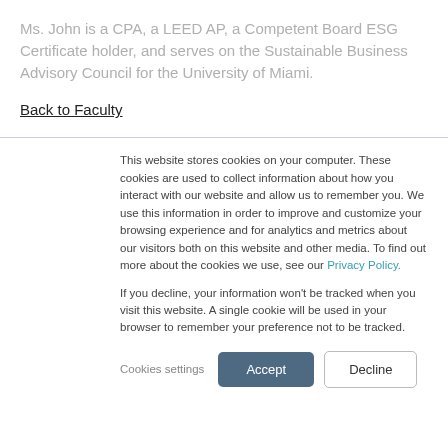Ms. John is a CPA, a LEED AP, a Competent Board ESG Certificate holder, and serves on the Sustainable Business Advisory Council for the University of Miami.
Back to Faculty
This website stores cookies on your computer. These cookies are used to collect information about how you interact with our website and allow us to remember you. We use this information in order to improve and customize your browsing experience and for analytics and metrics about our visitors both on this website and other media. To find out more about the cookies we use, see our Privacy Policy.
If you decline, your information won't be tracked when you visit this website. A single cookie will be used in your browser to remember your preference not to be tracked.